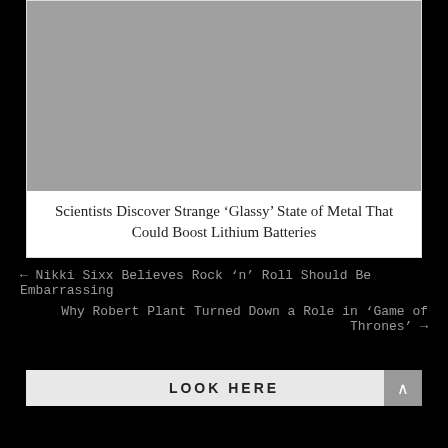[Figure (photo): Gray placeholder image at top of article card]
Scientists Discover Strange ‘Glassy’ State of Metal That Could Boost Lithium Batteries
← Nikki Sixx Believes Rock ‘n’ Roll Should Be Embarrassing
Why Robert Plant Turned Down a Role in ‘Game of Thrones’ →
LOOK HERE
[Figure (photo): Bottom strip showing partial thumbnail images]